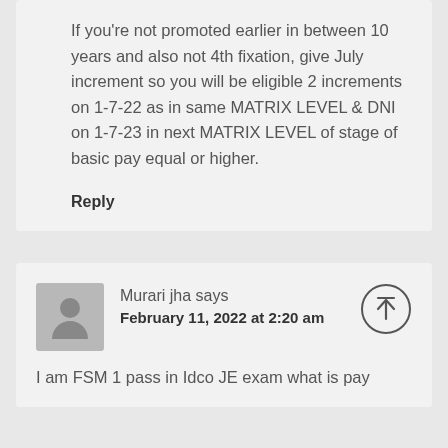If you're not promoted earlier in between 10 years and also not 4th fixation, give July increment so you will be eligible 2 increments on 1-7-22 as in same MATRIX LEVEL & DNI on 1-7-23 in next MATRIX LEVEL of stage of basic pay equal or higher.
Reply
Murari jha says
February 11, 2022 at 2:20 am
I am FSM 1 pass in Idco JE exam what is pay